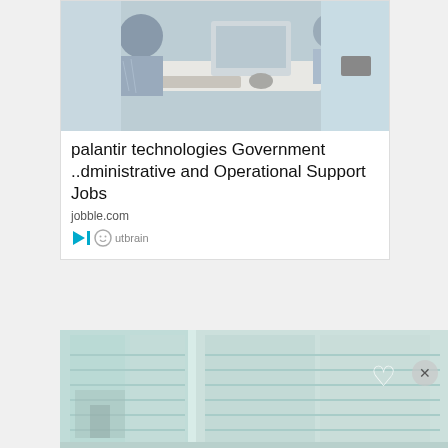[Figure (photo): Office workers at computer desks, viewed from above]
palantir technologies Government ..dministrative and Operational Support Jobs
jobble.com
Outbrain (sponsored content logo)
[Figure (photo): Modern room interior with large floor-to-ceiling windows showing city view, light teal/blue tones]
pine dentistry & braces General Dentist Jobs in Ashburn Apply Now
jobble.com